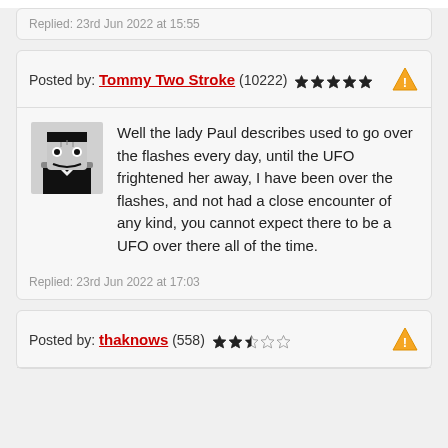Replied: 23rd Jun 2022 at 15:55
Posted by: Tommy Two Stroke (10222) ★★★★★
Well the lady Paul describes used to go over the flashes every day, until the UFO frightened her away, I have been over the flashes, and not had a close encounter of any kind, you cannot expect there to be a UFO over there all of the time.
Replied: 23rd Jun 2022 at 17:03
Posted by: thaknows (558) ★★☆☆☆